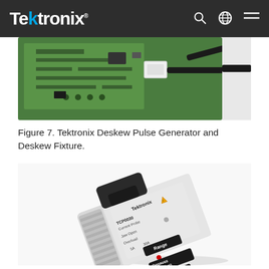Tektronix
[Figure (photo): Partial view of a green PCB circuit board with a USB connector and black cables attached, photographed from above on a white background.]
Figure 7. Tektronix Deskew Pulse Generator and Deskew Fixture.
[Figure (photo): Tektronix TCP0030 Current Probe device. The device is gray/white with ribbed sides, a black jaw/clip mechanism at the top, and a front panel showing the Tektronix logo, TCP0030 Current Probe label, Jaw Open and Overload indicators, 5A/30A Range button, a red LED dot, Degauss/AutoZero button, and Menu button.]